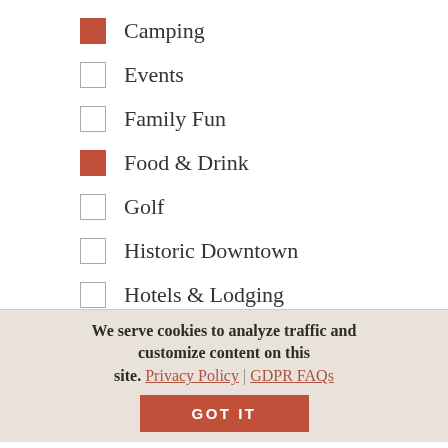Camping (checked)
Events
Family Fun
Food & Drink (checked)
Golf
Historic Downtown
Hotels & Lodging
(partially visible item)
We serve cookies to analyze traffic and customize content on this site. Privacy Policy | GDPR FAQs
GOT IT